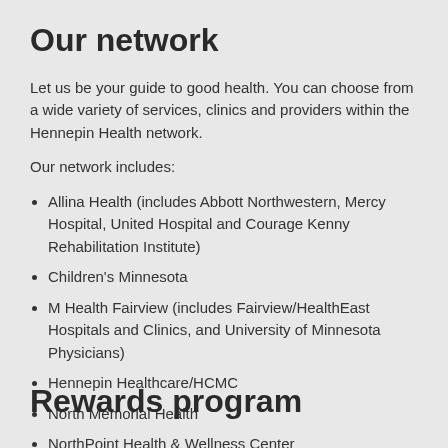Our network
Let us be your guide to good health. You can choose from a wide variety of services, clinics and providers within the Hennepin Health network.
Our network includes:
Allina Health (includes Abbott Northwestern, Mercy Hospital, United Hospital and Courage Kenny Rehabilitation Institute)
Children's Minnesota
M Health Fairview (includes Fairview/HealthEast Hospitals and Clinics, and University of Minnesota Physicians)
Hennepin Healthcare/HCMC
North Memorial Health
NorthPoint Health & Wellness Center
Rewards program